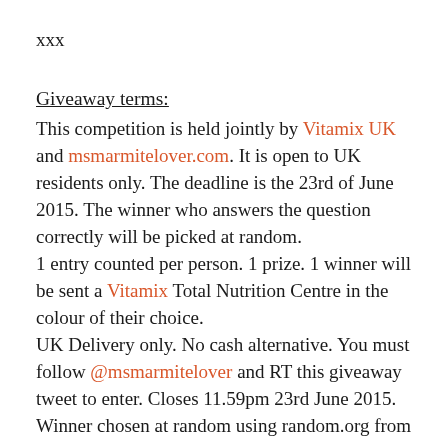xxx
Giveaway terms:
This competition is held jointly by Vitamix UK and msmarmitelover.com. It is open to UK residents only. The deadline is the 23rd of June 2015. The winner who answers the question correctly will be picked at random.
1 entry counted per person. 1 prize. 1 winner will be sent a Vitamix Total Nutrition Centre in the colour of their choice.
UK Delivery only. No cash alternative. You must follow @msmarmitelover and RT this giveaway tweet to enter. Closes 11.59pm 23rd June 2015.
Winner chosen at random using random.org from